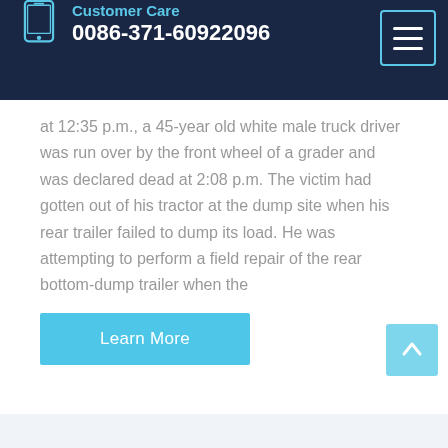Customer Care 0086-371-60922096
at 12:35 p.m., a 45-year old white male truck driver was run over by the front wheel of a grader and was declared dead at 2:08 p.m. The victim had gotten out of his tractor at the dump site when his rear trailer failed to dump its load. He was attempting to perform a field repair of the rear bottom-dump trailer when the
Learn More